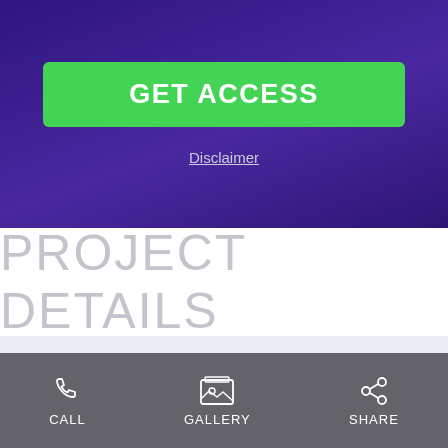GET ACCESS
Disclaimer
PROJECT DETAILS
| Icon | Field | Value |
| --- | --- | --- |
| [tag icon] | Project Name: | North Oak - Condos at Oakvillage |
| [builder icon] | Builders: | Minto Group Inc. |
| [status icon] | Project Status: | Pre-Construction |
|  | Approx Occupancy |  |
CALL   GALLERY   SHARE